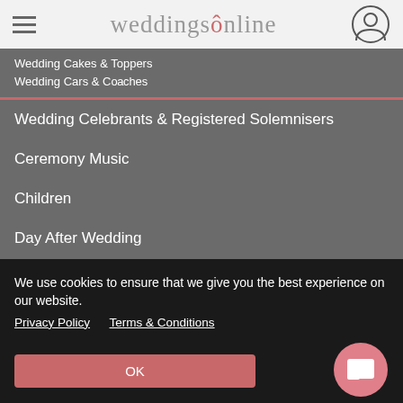weddingsonline
Wedding Cakes & Toppers
Wedding Cars & Coaches
Wedding Celebrants & Registered Solemnisers
Ceremony Music
Children
Day After Wedding
Wedding Decor and Event Styling
Destination Weddings
Wedding DJs
Wedding Dresses
Dress Cleaning & Alterations
We use cookies to ensure that we give you the best experience on our website. Privacy Policy   Terms & Conditions
OK